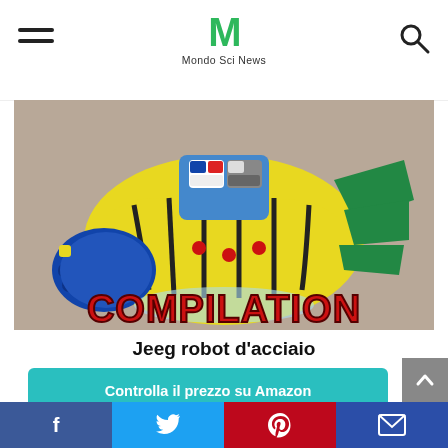Mondo Sci News
[Figure (illustration): Animated robot illustration (Jeeg robot d'acciaio) with yellow body, blue glove, green and red details, with 'COMPILATION' text in red at the bottom on a tan/beige background.]
Jeeg robot d'acciaio
Controlla il prezzo su Amazon
Amazon.it
Facebook Twitter Pinterest Email